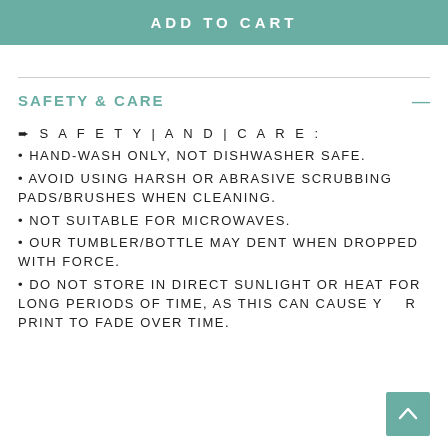ADD TO CART
SAFETY & CARE
➨ S A F E T Y | A N D | C A R E :
• HAND-WASH ONLY, NOT DISHWASHER SAFE.
• AVOID USING HARSH OR ABRASIVE SCRUBBING PADS/BRUSHES WHEN CLEANING.
• NOT SUITABLE FOR MICROWAVES.
• OUR TUMBLER/BOTTLE MAY DENT WHEN DROPPED WITH FORCE.
• DO NOT STORE IN DIRECT SUNLIGHT OR HEAT FOR LONG PERIODS OF TIME, AS THIS CAN CAUSE YOUR PRINT TO FADE OVER TIME.